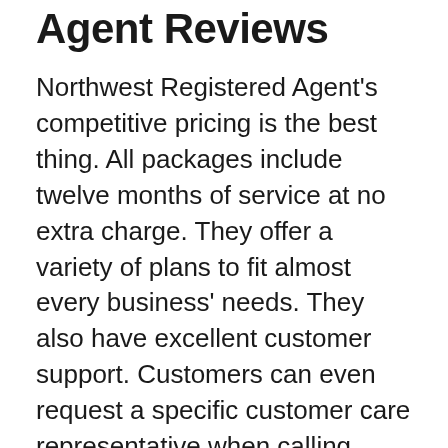Agent Reviews
Northwest Registered Agent's competitive pricing is the best thing. All packages include twelve months of service at no extra charge. They offer a variety of plans to fit almost every business' needs. They also have excellent customer support. Customers can even request a specific customer care representative when calling them. They have an excellent customer service record with over 100 positive reviews and very few complaints. And they answer complaints quickly and accurately.
The company has a solid reputation, with positive customer reviews found on various sites such as BBB. Although there aren't